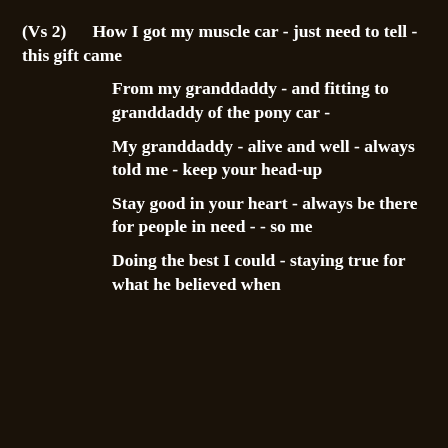(Vs 2)      How I got my muscle car - just need to tell - this gift came
From my granddaddy - and fitting to granddaddy of the pony car -
My granddaddy - alive and well - always told me - keep your head-up
Stay good in your heart - always be there for people in need - - so me
Doing the best I could - staying true for what he believed when